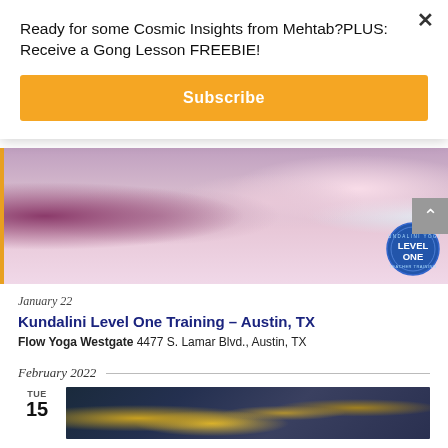Ready for some Cosmic Insights from Mehtab?PLUS: Receive a Gong Lesson FREEBIE!
Subscribe
[Figure (photo): Photo of a yoga class with participants seated and raising their arms, with a Kundalini Yoga Level One Teacher Training badge in the bottom right corner]
January 22
Kundalini Level One Training – Austin, TX
Flow Yoga Westgate 4477 S. Lamar Blvd., Austin, TX
February 2022
TUE 15
[Figure (photo): Photo showing scattered US dollar bills on a dark surface]